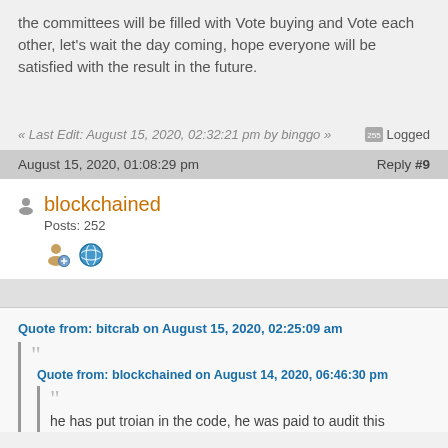the committees will be filled with Vote buying and Vote each other, let's wait the day coming, hope everyone will be satisfied with the result in the future.
« Last Edit: August 15, 2020, 02:32:21 pm by binggo »    Logged
August 15, 2020, 01:08:29 pm    Reply #9
blockchained
Posts: 252
Quote from: bitcrab on August 15, 2020, 02:25:09 am
Quote from: blockchained on August 14, 2020, 06:46:30 pm
he has put troian in the code, he was paid to audit this